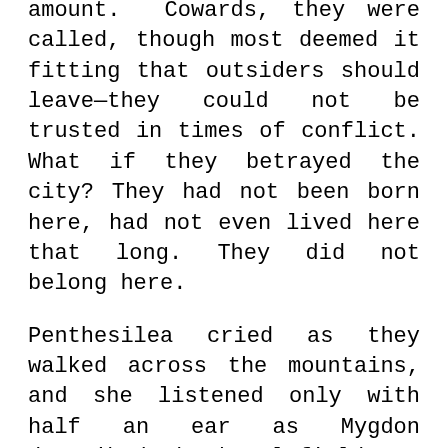amount. Cowards, they were called, though most deemed it fitting that outsiders should leave—they could not be trusted in times of conflict. What if they betrayed the city? They had not been born here, had not even lived here that long. They did not belong here.
Penthesilea cried as they walked across the mountains, and she listened only with half an ear as Mygdon described the battlefields on the beaches, the ships arriving late, the lions clashing under the sun.
“I do not know where to go next,” he told her, but as they arrived on the other side of